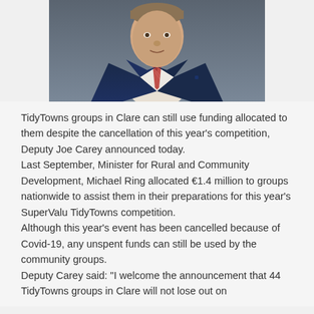[Figure (photo): Portrait photo of a man in a navy blue suit with a red patterned tie, photographed from the chest up against a dark grey background.]
TidyTowns groups in Clare can still use funding allocated to them despite the cancellation of this year's competition, Deputy Joe Carey announced today.
Last September, Minister for Rural and Community Development, Michael Ring allocated €1.4 million to groups nationwide to assist them in their preparations for this year's SuperValu TidyTowns competition.
Although this year's event has been cancelled because of Covid-19, any unspent funds can still be used by the community groups.
Deputy Carey said: "I welcome the announcement that 44 TidyTowns groups in Clare will not lose out on